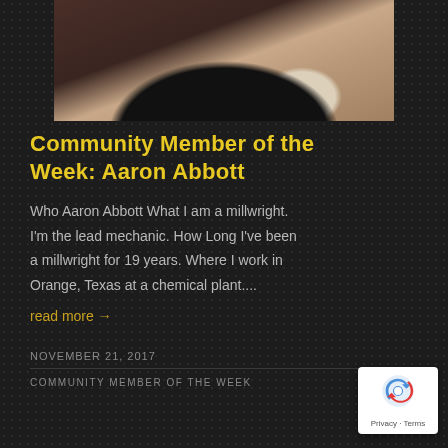[Figure (photo): A person in a dark t-shirt holding a newborn baby, seated on a brown couch near a window]
Community Member of the Week: Aaron Abbott
Who Aaron Abbott What I am a millwright. I'm the lead mechanic. How Long I've been a millwright for 19 years. Where I work in Orange, Texas at a chemical plant....
read more →
NOVEMBER 21, 2017
COMMUNITY MEMBER OF THE WEEK